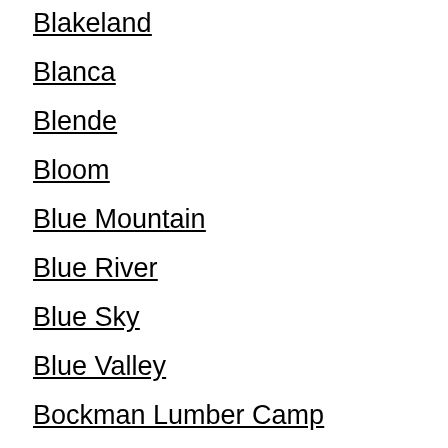Blakeland
Blanca
Blende
Bloom
Blue Mountain
Blue River
Blue Sky
Blue Valley
Bockman Lumber Camp
Boggsville
Bonanza